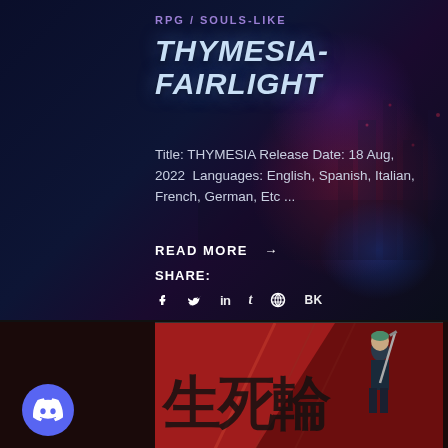RPG / SOULS-LIKE
THYMESIA-FAIRLIGHT
Title: THYMESIA Release Date: 18 Aug, 2022  Languages: English, Spanish, Italian, French, German, Etc ...
READ MORE →
SHARE:
f  y  in  t  ⊕  vk
[Figure (illustration): Red-toned game artwork with CJK characters and a character holding a sword, with red diagonal panel design]
[Figure (logo): Discord logo button - purple circle with white Discord icon]